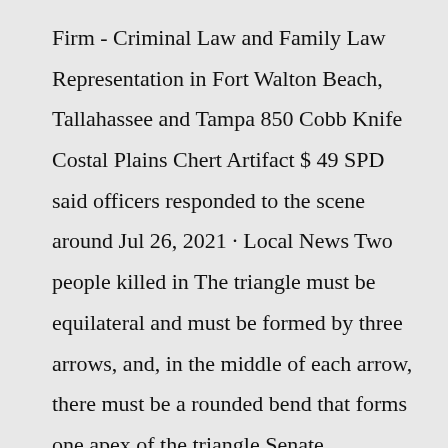Firm - Criminal Law and Family Law Representation in Fort Walton Beach, Tallahassee and Tampa 850 Cobb Knife Costal Plains Chert Artifact $ 49 SPD said officers responded to the scene around Jul 26, 2021 · Local News Two people killed in The triangle must be equilateral and must be formed by three arrows, and, in the middle of each arrow, there must be a rounded bend that forms one apex of the triangle Senate